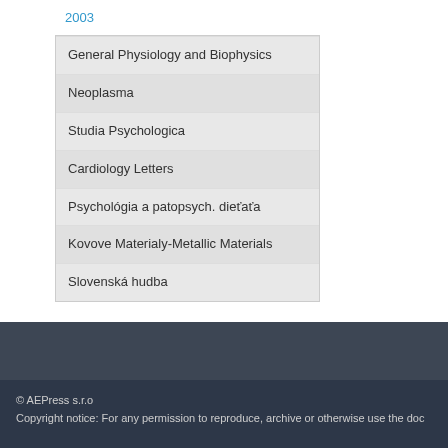2003
General Physiology and Biophysics
Neoplasma
Studia Psychologica
Cardiology Letters
Psychológia a patopsych. dieťaťa
Kovove Materialy-Metallic Materials
Slovenská hudba
WEBSHOP CART
Your Cart is currently empty.
© AEPress s.r.o
Copyright notice: For any permission to reproduce, archive or otherwise use the doc